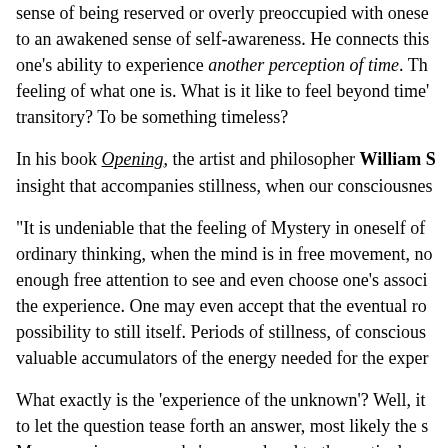sense of being reserved or overly preoccupied with oneself, to an awakened sense of self-awareness. He connects this to one's ability to experience another perception of time. The feeling of what one is. What is it like to feel beyond time's transitory? To be something timeless?
In his book Opening, the artist and philosopher William S... insight that accompanies stillness, when our consciousness...
"It is undeniable that the feeling of Mystery in oneself of... ordinary thinking, when the mind is in free movement, no... enough free attention to see and even choose one's associ... the experience. One may even accept that the eventual ro... possibility to still itself. Periods of stillness, of conscious... valuable accumulators of the energy needed for the exper...
What exactly is the 'experience of the unknown'? Well, i... to let the question tease forth an answer, most likely the s... Man experiences once he's surrendered to the particulars...
As Tom Blunt notes in his excellent rumination on the c...